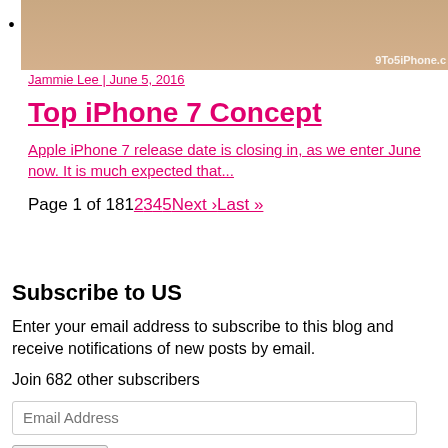[Figure (photo): Cropped photo strip with beige/tan background and watermark '9To5iPhone.c' in bottom right corner]
Jammie Lee | June 5, 2016
Top iPhone 7 Concept
Apple iPhone 7 release date is closing in, as we enter June now. It is much expected that...
Page 1 of 1812345Next ›Last »
Subscribe to US
Enter your email address to subscribe to this blog and receive notifications of new posts by email.
Join 682 other subscribers